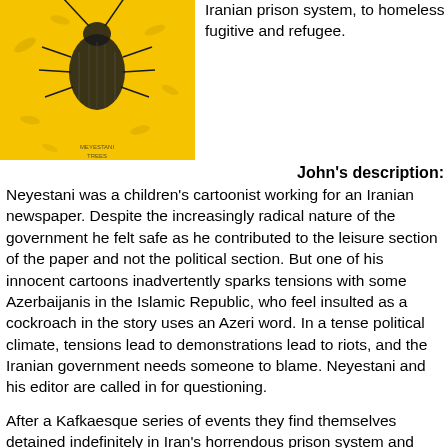[Figure (illustration): Book cover with yellow background featuring a black ink drawing of a cockroach with leaves/feathers, small text at bottom reading 'MEYESTANI / TREES']
Iranian prison system, to homeless fugitive and refugee.
John's description:
Neyestani was a children's cartoonist working for an Iranian newspaper. Despite the increasingly radical nature of the government he felt safe as he contributed to the leisure section of the paper and not the political section. But one of his innocent cartoons inadvertently sparks tensions with some Azerbaijanis in the Islamic Republic, who feel insulted as a cockroach in the story uses an Azeri word. In a tense political climate, tensions lead to demonstrations lead to riots, and the Iranian government needs someone to blame. Neyestani and his editor are called in for questioning.
After a Kafkaesque series of events they find themselves detained indefinitely in Iran's horrendous prison system and then placed in solitary confinement. Eventually he is unexpectedly released – albeit on a temporary basis. Fearing for his future, Neyestani and his wife flee the country and travel through Dubai, Turkey, Malaysia and China, trying to find some form of freedom and a place they can call